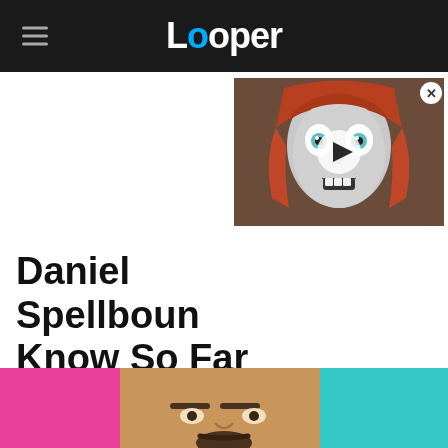Looper
[Figure (screenshot): Video thumbnail showing a robot/android face with wide eyes, orange/red helmet, with a play button overlay]
Daniel Spellboun Know So Far
[Figure (photo): Close-up photo of a bald man with a goatee beard against a pink and teal background]